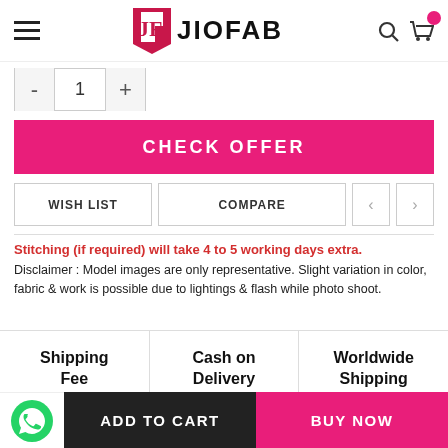[Figure (logo): JIOFAB logo with red/maroon shield icon and bold text]
- 1 +
CHECK OFFER
WISH LIST    COMPARE    < >
Stitching (if required) will take 4 to 5 working days extra.
Disclaimer : Model images are only representative. Slight variation in color, fabric & work is possible due to lightings & flash while photo shoot.
Shipping Fee    Cash on Delivery    Worldwide Shipping
ADD TO CART    BUY NOW